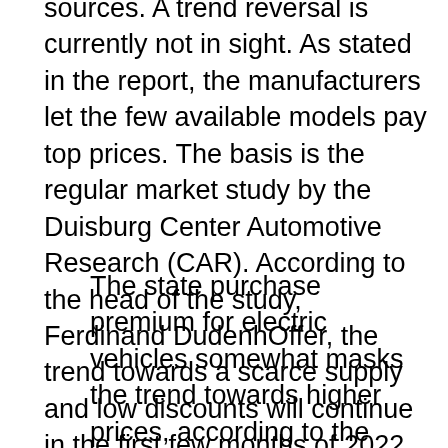sources. A trend reversal is currently not in sight. As stated in the report, the manufacturers let the few available models pay top prices. The basis is the regular market study by the Duisburg Center Automotive Research (CAR). According to the head of the study, Ferdinand DudenhOffer, the trend towards a scarce supply and low discounts will continue in the first few months of 2022. This is due in particular to supply problems with computer chips.
The state purchase premium for electric vehicles somewhat masks the trend towards higher prices, according to the assessment. According to the study, almost all indicators pointed to rising consumer prices for new cars in